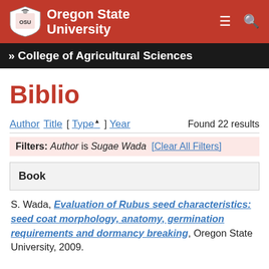[Figure (logo): Oregon State University logo with shield and text on red header bar with hamburger menu and search icons]
» College of Agricultural Sciences
Biblio
Author Title [ Type ▲ ] Year   Found 22 results
Filters: Author is Sugae Wada [Clear All Filters]
Book
S. Wada, Evaluation of Rubus seed characteristics: seed coat morphology, anatomy, germination requirements and dormancy breaking, Oregon State University, 2009.